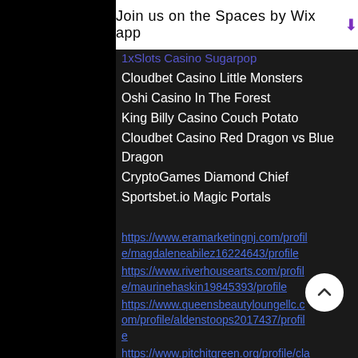Join us on the Spaces by Wix app
1xSlots Casino Sugarpop
Cloudbet Casino Little Monsters
Oshi Casino In The Forest
King Billy Casino Couch Potato
Cloudbet Casino Red Dragon vs Blue Dragon
CryptoGames Diamond Chief
Sportsbet.io Magic Portals
https://www.eramarketingnj.com/profile/magdaleneabilez16224643/profile
https://www.riverhousearts.com/profile/maurinehaskin19845393/profile
https://www.queensbeautyloungellc.com/profile/aldenstoops2017437/profile
https://www.pitchitgreen.org/profile/claudeebinger4582776/profile